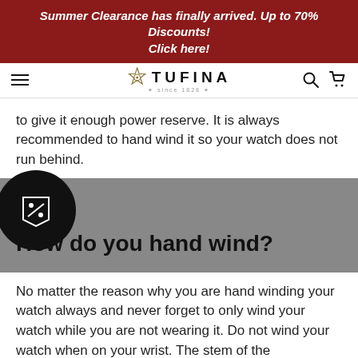Summer Clearance has finally arrived. Up to 70% Discounts! Click here!
[Figure (logo): Tufina brand logo with star emblem and 'since 1828' tagline]
to give it enough power reserve. It is always recommended to hand wind it so your watch does not run behind.
How do you hand wind?
No matter the reason why you are hand winding your watch always and never forget to only wind your watch while you are not wearing it. Do not wind your watch when on your wrist. The stem of the crown/knob over a period of time will bend and this damage will shorten the longevity of your